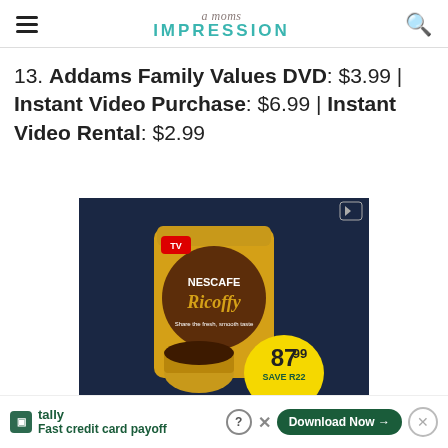a moms IMPRESSION
13. Addams Family Values DVD: $3.99 | Instant Video Purchase: $6.99 | Instant Video Rental: $2.99
[Figure (photo): Advertisement for Nescafe Ricoffy coffee product showing a gold tin and cup of coffee with price 87.99 and SAVE R22]
Tally Fast credit card payoff | Download Now